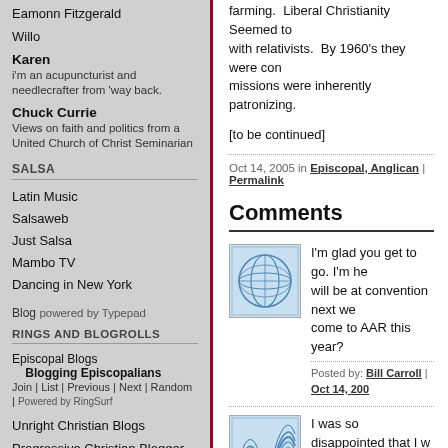Eamonn Fitzgerald
Willo
Karen
i'm an acupuncturist and needlecrafter from 'way back.
Chuck Currie
Views on faith and politics from a United Church of Christ Seminarian
SALSA
Latin Music
Salsaweb
Just Salsa
Mambo TV
Dancing in New York
Blog powered by Typepad
RINGS AND BLOGROLLS
Episcopal Blogs
Blogging Episcopalians
Join | List | Previous | Next | Random | Powered by RingSurf
Unright Christian Blogs
Progressive Christian Blogger Network
farming.  Liberal Christianity Seemed to with relativists.  By 1960's they were con missions were inherently patronizing.
[to be continued]
Oct 14, 2005 in Episcopal, Anglican | Permalink
Comments
[Figure (illustration): Globe/sphere icon avatar in blue and white]
I'm glad you get to go. I'm he will be at convention next we come to AAR this year?
Posted by: Bill Carroll | Oct 14, 200
[Figure (illustration): Wave/swirl icon avatar in blue and white]
I was so disappointed that I w when you dropped around to about to leave for the weeken the conference sessions, eith sometime.